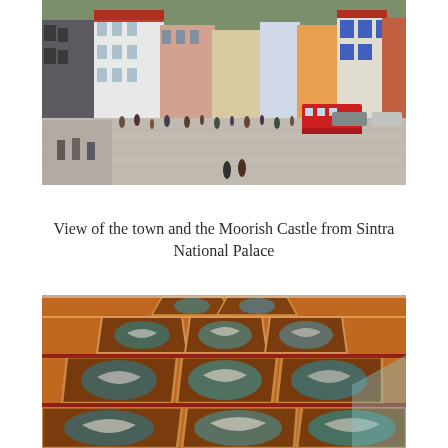[Figure (photo): View of a town square in Sintra, Portugal, with historic buildings, a crowd of people, a red double-decker tourist bus, and cars. Forested hills visible in the background.]
View of the town and the Moorish Castle from Sintra National Palace
[Figure (photo): Close-up photograph of an ornate painted ceiling featuring a repeating pattern of octagonal frames, each containing painted swans or birds on a decorative terracotta and gold background.]